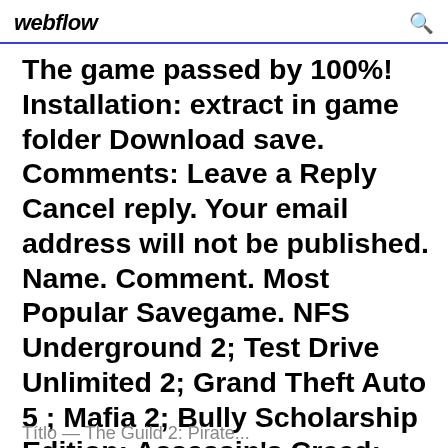webflow
The game passed by 100%! Installation: extract in game folder Download save. Comments: Leave a Reply Cancel reply. Your email address will not be published. Name. Comment. Most Popular Savegame. NFS Underground 2; Test Drive Unlimited 2; Grand Theft Auto 5 ; Mafia 2; Bully Scholarship Edition; Assassin's Creed: Unity; Devil May
Título — The Guild 2: Pirates...